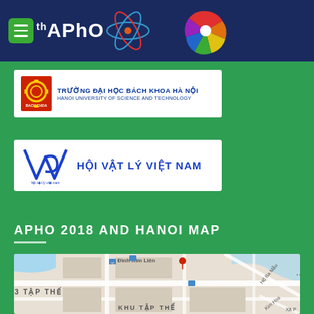19th APhO
[Figure (logo): Hanoi University of Science and Technology logo with Vietnamese and English text: TRUONG DAI HOC BACH KHOA HA NOI / HANOI UNIVERSITY OF SCIENCE AND TECHNOLOGY]
[Figure (logo): VPS logo with text: HOI VAT LY VIET NAM (Vietnam Physical Society)]
APHO 2018 AND HANOI MAP
[Figure (map): Hanoi map showing streets including Dinh Kim Lien, 3 Tap The, Khu Tap The, Ho Ba Mau, Kim Hoa and surrounding area]